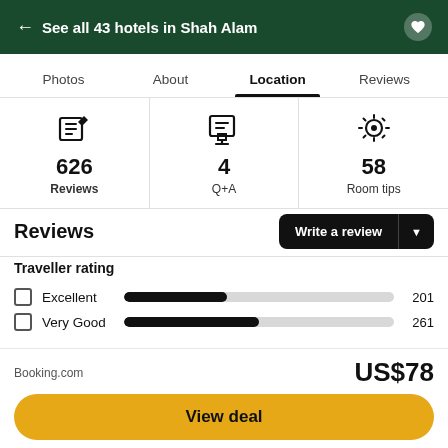← See all 43 hotels in Shah Alam
Photos | About | Location | Reviews
626 Reviews | 4 Q+A | 58 Room tips
Reviews
Write a review
Traveller rating
[Figure (bar-chart): Traveller rating]
Booking.com US$78 View deal